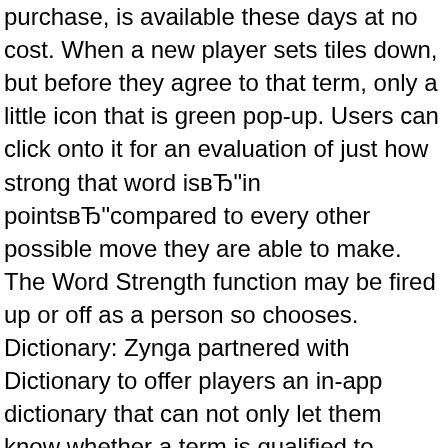purchase, is available these days at no cost. When a new player sets tiles down, but before they agree to that term, only a little icon that is green pop-up. Users can click onto it for an evaluation of just how strong that word isвЂ"in pointsвЂ"compared to every other possible move they are able to make. The Word Strength function may be fired up or off as a person so chooses. Dictionary: Zynga partnered with Dictionary to offer players an in-app dictionary that can not only let them know whether a term is qualified to receive play, but its meaning and rarity (according to just how frequently it is played in term With Friends). The dictionary is searchable, provides pronunciations that are audio churns out a term regarding the Day, the same as Dictionary does.
Data: the version that is new offer вЂњhead-to-headвЂќ statistics, so players can easily see just how they've stacked up against one another as time passes, with regards to total victories and losings, typical game ratings and so on. The brand new game board additionally provides prime room to players'